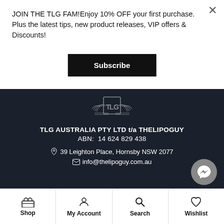JOIN THE TLG FAM!Enjoy 10% OFF your first purchase. Plus the latest tips, new product releases, VIP offers & Discounts!
Subscribe
[Figure (logo): TLG winged logo in dark grey on dark background]
TLG AUSTRALIA PTY LTD t/a THELIPOGUY
ABN:  14 624 829 438
39 Leighton Place, Hornsby NSW 2077
info@thelipoguy.com.au
Shop
My Account
Search
Wishlist